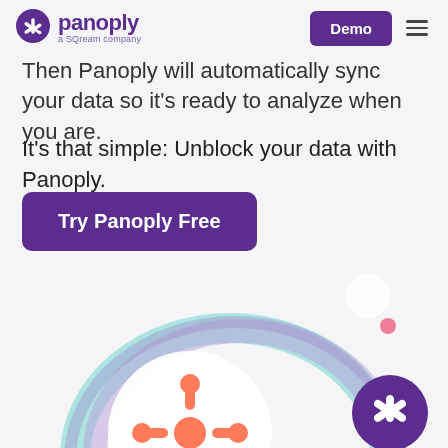panoply — a SQream company | Demo
Then Panoply will automatically sync your data so it's ready to analyze when you are.
It's that simple: Unblock your data with Panoply.
[Figure (illustration): Purple button labeled 'Try Panoply Free']
[Figure (illustration): Decorative circular illustration with HubSpot logo icon and Panoply icon, overlapping rings in purple, teal, and light colors at bottom of page]